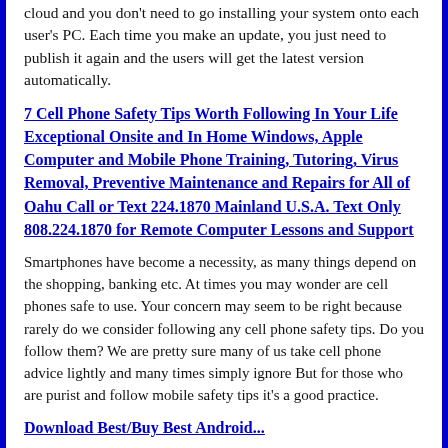cloud and you don't need to go installing your system onto each user's PC. Each time you make an update, you just need to publish it again and the users will get the latest version automatically.
7 Cell Phone Safety Tips Worth Following In Your Life Exceptional Onsite and In Home Windows, Apple Computer and Mobile Phone Training, Tutoring, Virus Removal, Preventive Maintenance and Repairs for All of Oahu Call or Text 224.1870 Mainland U.S.A. Text Only 808.224.1870 for Remote Computer Lessons and Support
Smartphones have become a necessity, as many things depend on the shopping, banking etc. At times you may wonder are cell phones safe to use. Your concern may seem to be right because rarely do we consider following any cell phone safety tips. Do you follow them? We are pretty sure many of us take cell phone advice lightly and many times simply ignore But for those who are purist and follow mobile safety tips it's a good practice.
Download Best/Buy Best Android...